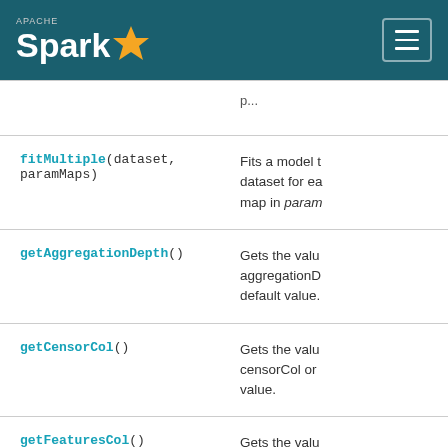Apache Spark
| Method | Description |
| --- | --- |
| fitMultiple(dataset, paramMaps) | Fits a model to the dataset for each param map in paramMaps. |
| getAggregationDepth() | Gets the value of aggregationDepth or its default value. |
| getCensorCol() | Gets the value of censorCol or its default value. |
| getFeaturesCol() | Gets the value of featuresCol or its default value. |